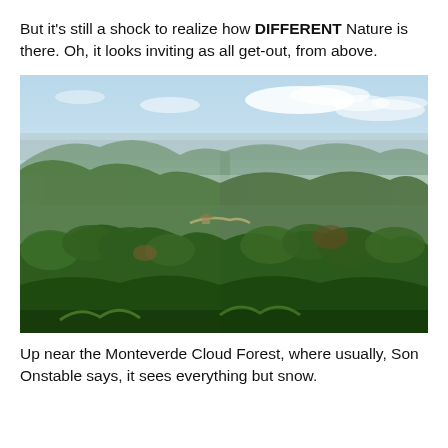But it's still a shock to realize how DIFFERENT Nature is there. Oh, it looks inviting as all get-out, from above.
[Figure (photo): Aerial/elevated landscape view of a lush green mountainous rainforest with valleys, rolling hills covered in dense green vegetation, a winding road visible in the middle distance, and a blue sky with scattered clouds above. The scene is very green and tropical, consistent with Costa Rica or a similar Central American cloud forest region.]
Up near the Monteverde Cloud Forest, where usually, Son Onstable says, it sees everything but snow.